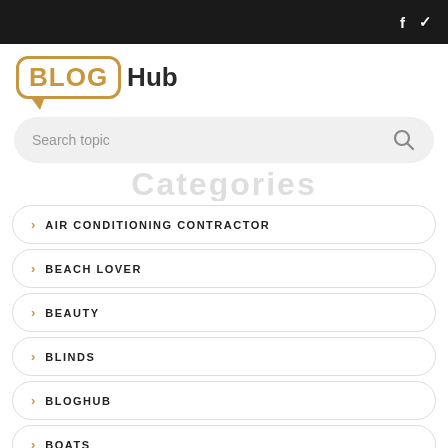f  ✓
[Figure (logo): BlogHub logo: BLOG in a speech bubble outline with chevron tail, followed by Hub in dark text]
[Figure (other): Search bar with placeholder text 'Search topic' and magnifying glass icon]
Categories
> AIR CONDITIONING CONTRACTOR
> BEACH LOVER
> BEAUTY
> BLINDS
> BLOGHUB
> BOATS